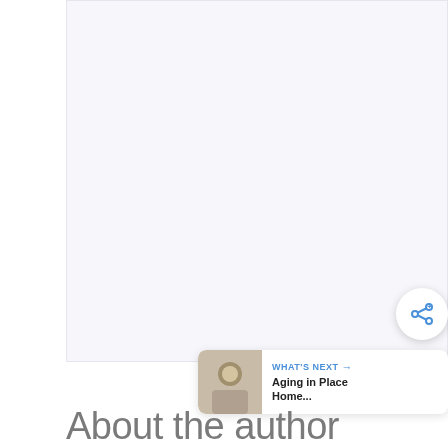[Figure (illustration): Large whitespace/blank article content area with light gray-blue background]
[Figure (illustration): Circular share button with share/add icon in blue]
[Figure (illustration): WHAT'S NEXT card with thumbnail image and text 'Aging in Place Home...']
About the author